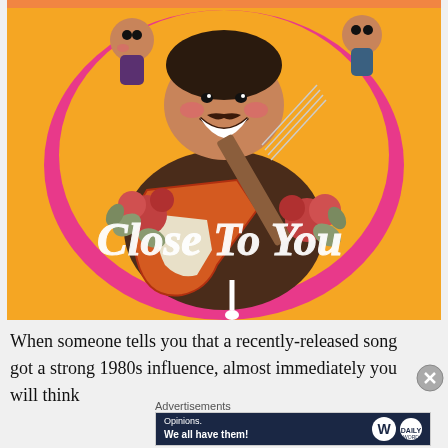[Figure (illustration): Colorful illustration of a smiling man with a mustache playing an orange electric guitar, surrounded by roses and floral elements on a yellow/orange background with a pink outline. Text overlaid in white cursive script reads 'Close To You'.]
When someone tells you that a recently-released song got a strong 1980s influence, almost immediately you will think
Advertisements
[Figure (screenshot): Advertisement banner with dark navy background. Left side shows text: 'Opinions. We all have them!' Right side shows WordPress logo (W in circle) and another circular logo.]